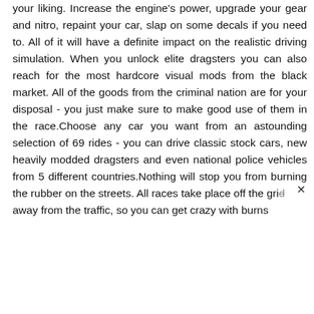your liking. Increase the engine's power, upgrade your gear and nitro, repaint your car, slap on some decals if you need to. All of it will have a definite impact on the realistic driving simulation. When you unlock elite dragsters you can also reach for the most hardcore visual mods from the black market. All of the goods from the criminal nation are for your disposal - you just make sure to make good use of them in the race.Choose any car you want from an astounding selection of 69 rides - you can drive classic stock cars, new heavily modded dragsters and even national police vehicles from 5 different countries.Nothing will stop you from burning the rubber on the streets. All races take place off the grid away from the traffic, so you can get crazy with burns